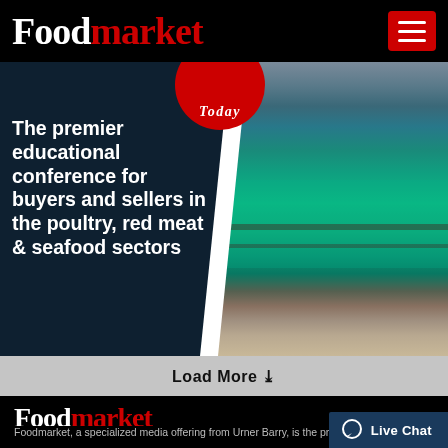Foodmarket
[Figure (photo): Banner advertisement for a food industry conference showing a split panel with dark navy background on the left featuring white text about an educational conference for buyers and sellers in the poultry, red meat and seafood sectors, and an aerial photograph of Chicago's river district on the right, with a red circular badge at top.]
The premier educational conference for buyers and sellers in the poultry, red meat & seafood sectors
Load More
Foodmarket
Foodmarket, a specialized media offering from Urner Barry, is the premier source of m industry.